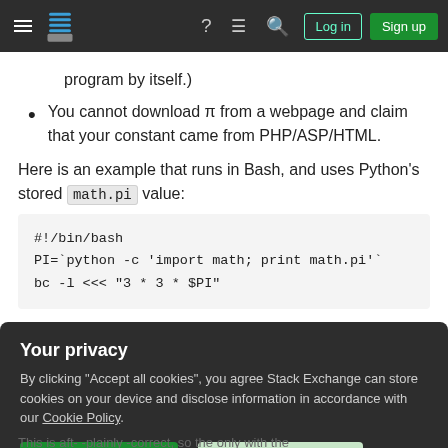Stack Exchange navigation bar with hamburger menu, logo, help, chat, search, Log in, Sign up
program by itself.)
You cannot download π from a webpage and claim that your constant came from PHP/ASP/HTML.
Here is an example that runs in Bash, and uses Python's stored math.pi value:
#!/bin/bash
PI=`python -c 'import math; print math.pi'`
bc -l <<< "3 * 3 * $PI"
Your privacy
By clicking "Accept all cookies", you agree Stack Exchange can store cookies on your device and disclose information in accordance with our Cookie Policy.
This is aft- -plainly -correct, so the only with the most votes after a week wins.